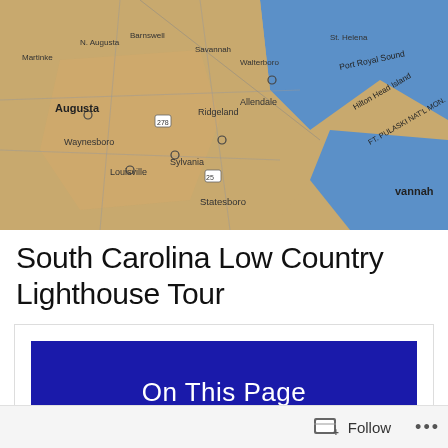[Figure (map): Aerial map photograph showing the southeastern US coast including Augusta, Waynesboro, Sylvania, Louisville, Statesboro, Ridgeland, Allendale, Walterboro, St. Helena, Hilton Head Island, FT. PULASKI NAT'L MON., and Savannah areas in Georgia and South Carolina.]
South Carolina Low Country Lighthouse Tour
[Figure (infographic): Blue banner with white text reading 'On This Page']
Trip Snapshot
Itinerary Details